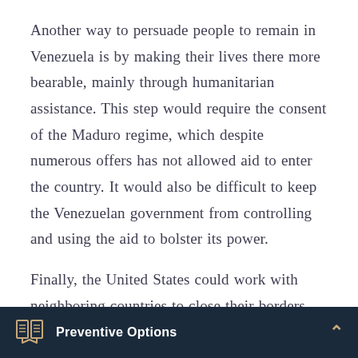Another way to persuade people to remain in Venezuela is by making their lives there more bearable, mainly through humanitarian assistance. This step would require the consent of the Maduro regime, which despite numerous offers has not allowed aid to enter the country. It would also be difficult to keep the Venezuelan government from controlling and using the aid to bolster its power.
Finally, the United States could work with neighboring countries to close their borders, making it harder for Venezuelans to flee. But this option is anti-humanitarian. It is also impractical given that
Preventive Options